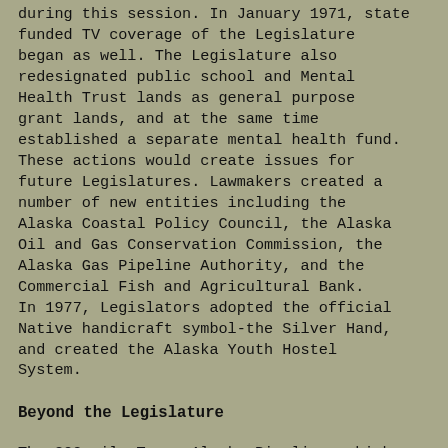during this session. In January 1971, state funded TV coverage of the Legislature began as well. The Legislature also redesignated public school and Mental Health Trust lands as general purpose grant lands, and at the same time established a separate mental health fund. These actions would create issues for future Legislatures. Lawmakers created a number of new entities including the Alaska Coastal Policy Council, the Alaska Oil and Gas Conservation Commission, the Alaska Gas Pipeline Authority, and the Commercial Fish and Agricultural Bank. In 1977, Legislators adopted the official Native handicraft symbol-the Silver Hand, and created the Alaska Youth Hostel System.
Beyond the Legislature
The 800-mile Trans-Alaska Pipeline, which required 515 federal permits and 832 state permits, is completed and on June 20, 1977, the first oil flows through the pipeline.